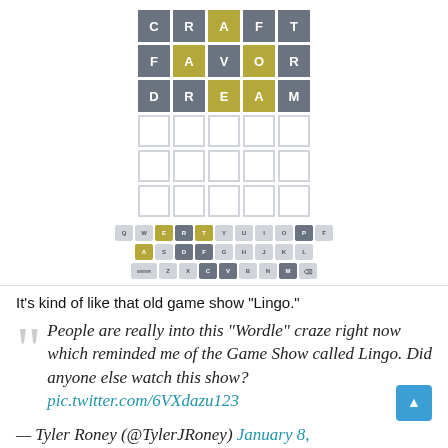[Figure (screenshot): Wordle game grid showing 3 completed rows (CRAFT, FAVOR, DREAM) with colored tiles - gray, gold, and dark backgrounds - plus 3 empty rows, and a keyboard below with colored keys indicating used letters]
It's kind of like that old game show “Lingo.”
People are really into this “Wordle” craze right now which reminded me of the Game Show called Lingo. Did anyone else watch this show? pic.twitter.com/6VXdazu123
— Tyler Roney (@TylerJRoney) January 8,